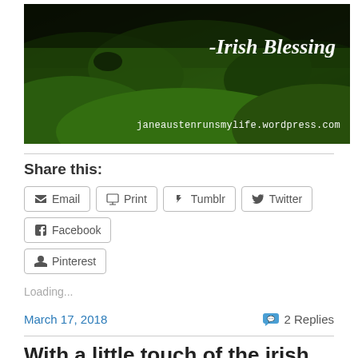[Figure (photo): Dark green Irish landscape banner image with rolling hills, dark sky. Text overlay reads '-Irish Blessing' in decorative serif font and 'janeaustenrunsmylife.wordpress.com' in monospace font at bottom right.]
Share this:
Email  Print  Tumblr  Twitter  Facebook  Pinterest
Loading...
March 17, 2018
2 Replies
With a little touch of the irish...